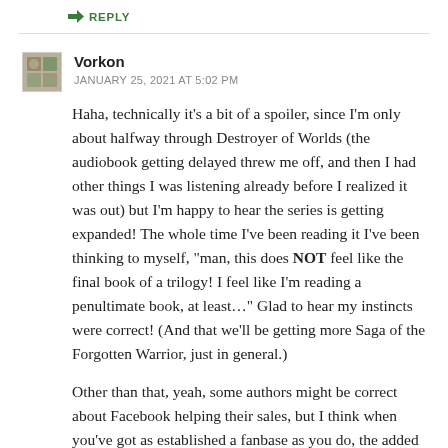↳ REPLY
Vorkon
JANUARY 25, 2021 AT 5:02 PM
Haha, technically it's a bit of a spoiler, since I'm only about halfway through Destroyer of Worlds (the audiobook getting delayed threw me off, and then I had other things I was listening already before I realized it was out) but I'm happy to hear the series is getting expanded! The whole time I've been reading it I've been thinking to myself, "man, this does NOT feel like the final book of a trilogy! I feel like I'm reading a penultimate book, at least..." Glad to hear my instincts were correct! (And that we'll be getting more Saga of the Forgotten Warrior, just in general.)
Other than that, yeah, some authors might be correct about Facebook helping their sales, but I think when you've got as established a fanbase as you do, the added